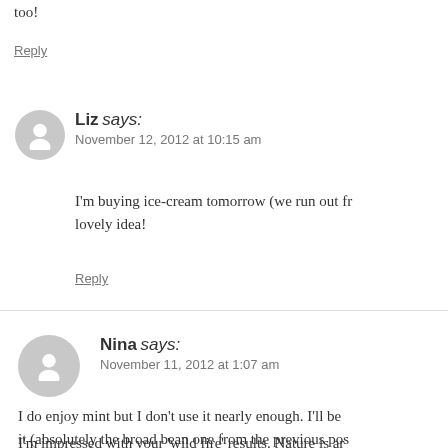too!
Reply
Liz says: November 12, 2012 at 10:15 am
I'm buying ice-cream tomorrow (we run out fr… lovely idea!
Reply
Nina says: November 11, 2012 at 1:07 am
I do enjoy mint but I don't use it nearly enough. I'll be it (absolutely the broad bean one from the previous pos…
I'm impressed with your 'wild fire' results. Nature is ar…
Reply